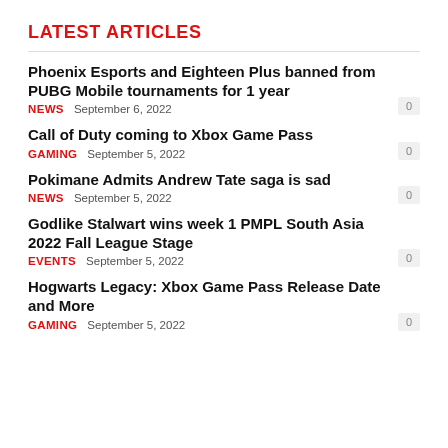LATEST ARTICLES
Phoenix Esports and Eighteen Plus banned from PUBG Mobile tournaments for 1 year
NEWS  September 6, 2022  0
Call of Duty coming to Xbox Game Pass
GAMING  September 5, 2022  0
Pokimane Admits Andrew Tate saga is sad
NEWS  September 5, 2022  0
Godlike Stalwart wins week 1 PMPL South Asia 2022 Fall League Stage
EVENTS  September 5, 2022  0
Hogwarts Legacy: Xbox Game Pass Release Date and More
GAMING  September 5, 2022  0